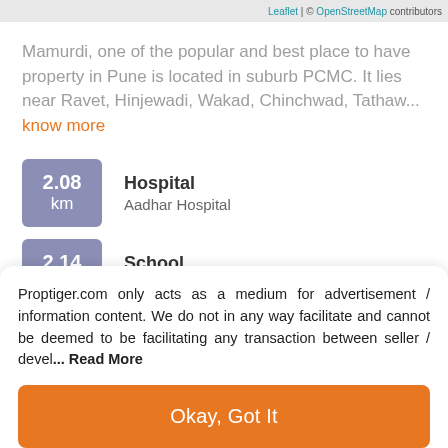Leaflet | © OpenStreetMap contributors
Mamurdi, one of the popular and best place to have property in Pune is located in suburb PCMC. It lies near Ravet, Hinjewadi, Wakad, Chinchwad, Tathaw... know more
2.08 km — Hospital — Aadhar Hospital
2.14 km — School — Samsong Republic Wisdom School
Proptiger.com only acts as a medium for advertisement / information content. We do not in any way facilitate and cannot be deemed to be facilitating any transaction between seller / devel... Read More
Okay, Got It